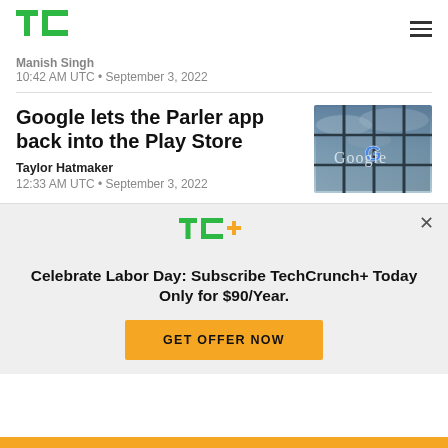TechCrunch logo and navigation
Manish Singh
10:42 AM UTC • September 3, 2022
Google lets the Parler app back into the Play Store
Taylor Hatmaker
12:33 AM UTC • September 3, 2022
[Figure (photo): Google logo on glass panels with cloudy sky reflection]
Celebrate Labor Day: Subscribe TechCrunch+ Today Only for $90/Year.
GET OFFER NOW